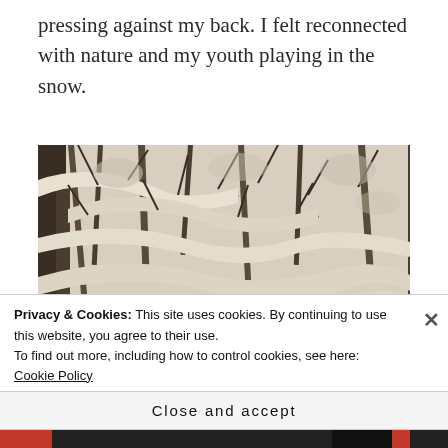pressing against my back. I felt reconnected with nature and my youth playing in the snow.
[Figure (photo): Black and white photo of snow-covered tree branches in a winter forest]
Privacy & Cookies: This site uses cookies. By continuing to use this website, you agree to their use.
To find out more, including how to control cookies, see here: Cookie Policy
Close and accept